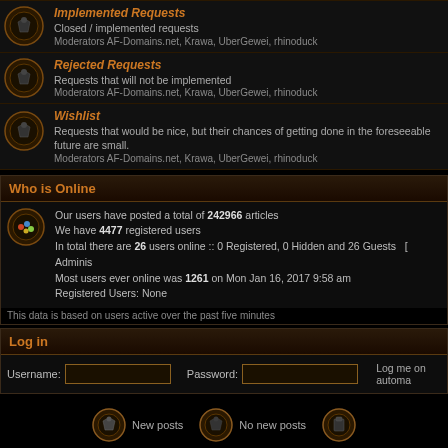Implemented Requests
Closed / implemented requests
Moderators AF-Domains.net, Krawa, UberGewei, rhinoduck
Rejected Requests
Requests that will not be implemented
Moderators AF-Domains.net, Krawa, UberGewei, rhinoduck
Wishlist
Requests that would be nice, but their chances of getting done in the foreseeable future are small.
Moderators AF-Domains.net, Krawa, UberGewei, rhinoduck
Who is Online
Our users have posted a total of 242966 articles
We have 4477 registered users
In total there are 26 users online :: 0 Registered, 0 Hidden and 26 Guests   [ Adminis
Most users ever online was 1261 on Mon Jan 16, 2017 9:58 am
Registered Users: None
This data is based on users active over the past five minutes
Log in
Username:  Password:  Log me on automa
New posts   No new posts
Powered by phpBB © 2001, 2005 phpBB Group